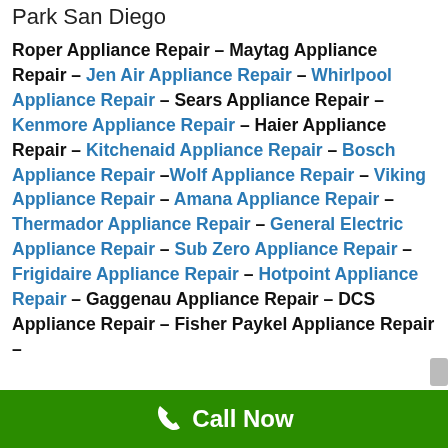Park San Diego
Roper Appliance Repair – Maytag Appliance Repair – Jen Air Appliance Repair – Whirlpool Appliance Repair – Sears Appliance Repair – Kenmore Appliance Repair – Haier Appliance Repair – Kitchenaid Appliance Repair – Bosch Appliance Repair –Wolf Appliance Repair – Viking Appliance Repair – Amana Appliance Repair – Thermador Appliance Repair – General Electric Appliance Repair – Sub Zero Appliance Repair – Frigidaire Appliance Repair – Hotpoint Appliance Repair – Gaggenau Appliance Repair – DCS Appliance Repair – Fisher Paykel Appliance Repair –
Call Now